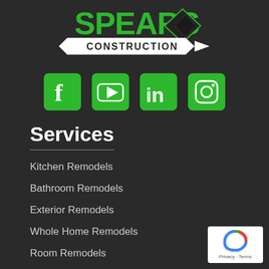[Figure (logo): Spears Construction company logo with green stylized text and diamond shape icon, white banner reading CONSTRUCTION]
[Figure (infographic): Four green social media icons: Facebook, YouTube, LinkedIn, Instagram]
Services
Kitchen Remodels
Bathroom Remodels
Exterior Remodels
Whole Home Remodels
Room Remodels